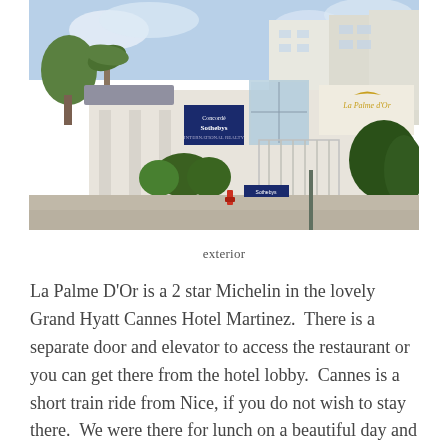[Figure (photo): Exterior photo of La Palme D'Or restaurant at Grand Hyatt Cannes Hotel Martinez, showing the building facade with Sotheby's sign, La Palme d'Or signage, iron gate, hedges, and parked cars on the street.]
exterior
La Palme D'Or is a 2 star Michelin in the lovely Grand Hyatt Cannes Hotel Martinez.  There is a separate door and elevator to access the restaurant or you can get there from the hotel lobby.  Cannes is a short train ride from Nice, if you do not wish to stay there.  We were there for lunch on a beautiful day and so